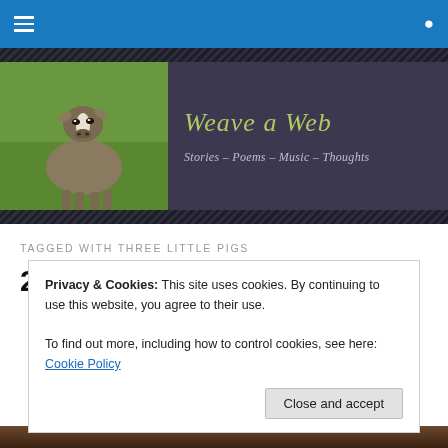Navigation bar with hamburger menu and search icon
[Figure (illustration): Website banner for 'Weave a Web' blog showing a goat photo on the left and dark purple background with cursive green/gold title text 'Weave a Web' and subtitle 'Stories - Poems - Music - Thoughts' on the right]
TAGGED WITH THREE LITTLE PIGS
2471. Mr. B.B. Wolf
Privacy & Cookies: This site uses cookies. By continuing to use this website, you agree to their use.
To find out more, including how to control cookies, see here: Cookie Policy
Close and accept